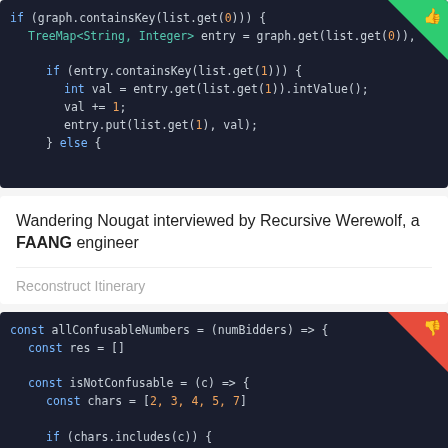[Figure (screenshot): Code editor screenshot showing Java code with if/else block involving graph.containsKey and TreeMap entry operations. Green thumbs-up badge in top-right corner.]
Wandering Nougat interviewed by Recursive Werewolf, a FAANG engineer
Reconstruct Itinerary
[Figure (screenshot): Code editor screenshot showing JavaScript code defining allConfusableNumbers arrow function with const res=[], isNotConfusable arrow function, chars array [2,3,4,5,7], and if chars.includes(c) return true. Red thumbs-down badge in top-right corner.]
Fresh Bear interviewed by Sly Chinchilla, a FAANG engineer
Confusable auction numbers